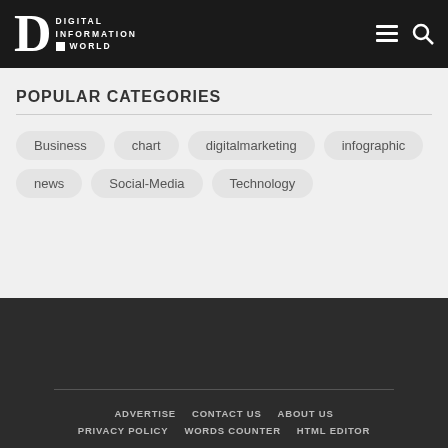Digital Information World
POPULAR CATEGORIES
Business
chart
digitalmarketing
infographic
news
Social-Media
Technology
ADVERTISE   CONTACT US   ABOUT US   PRIVACY POLICY   WORDS COUNTER   HTML EDITOR